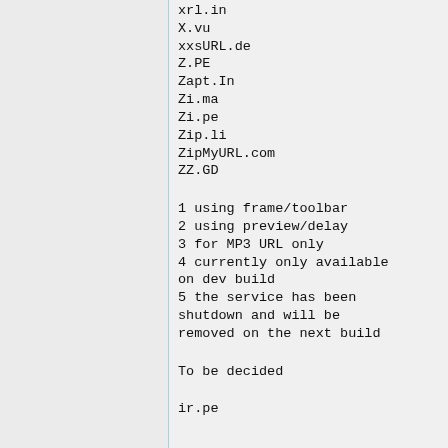xrl.in
X.vu
xxsURL.de
Z.PE
Zapt.In
Zi.ma
Zi.pe
Zip.li
ZipMyURL.com
ZZ.GD
1 using frame/toolbar
2 using preview/delay
3 for MP3 URL only
4 currently only available on dev build
5 the service has been shutdown and will be removed on the next build
To be decided
ir.pe